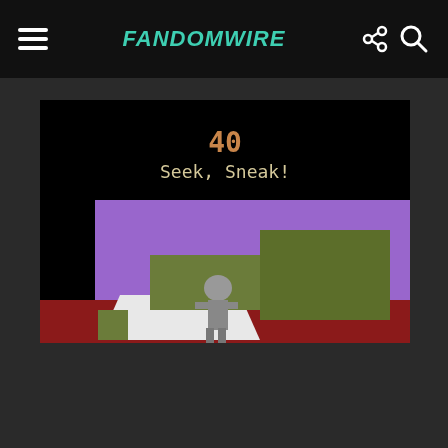FandomWire
[Figure (screenshot): Retro Atari-style 3D game screenshot showing a room with purple walls, dark red floor, a bed with white sheets and olive green headboard/footboard, a grey humanoid character standing near the bed, and a large olive green dresser/cabinet on the right side. Black area on the far left. Text overlay reads '40' in orange and 'Seek, Sneak!' in tan/cream color on black area at top.]